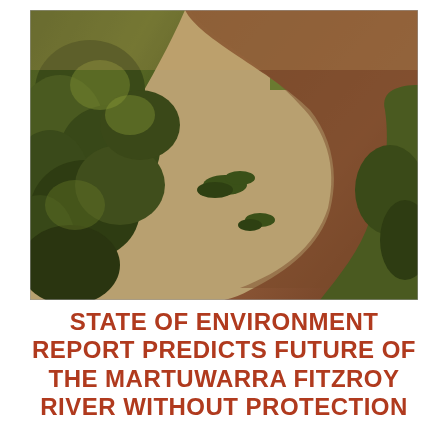[Figure (photo): Aerial photograph of the Martuwarra Fitzroy River winding through dense green woodland/forest. The river is wide and brown/reddish, curving from upper right to lower left. Lush trees line both banks. Small vegetated islands appear mid-river. Warm golden light illuminates the scene.]
STATE OF ENVIRONMENT REPORT PREDICTS FUTURE OF THE MARTUWARRA FITZROY RIVER WITHOUT PROTECTION